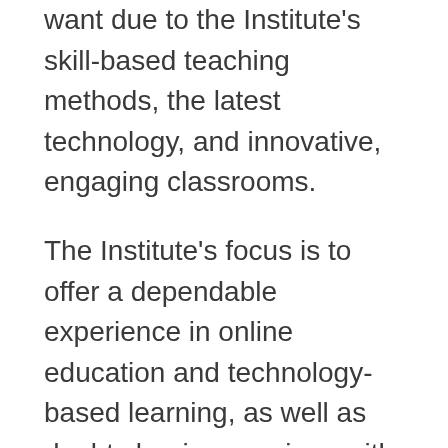want due to the Institute's skill-based teaching methods, the latest technology, and innovative, engaging classrooms.
The Institute's focus is to offer a dependable experience in online education and technology-based learning, as well as doubt clearing sessions with instructors if required. Students can grasp the most relevant concepts regarding technological advancement within the industry. Because of the high-quality education and current information, advanced training has helped many students at